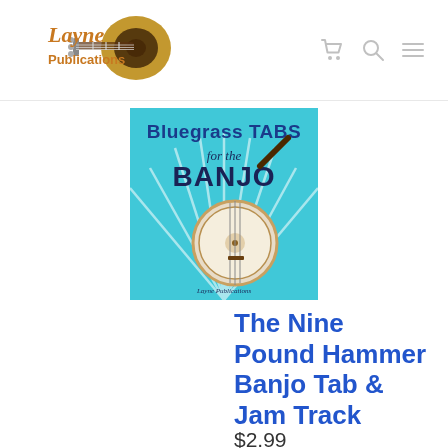Layne Publications [logo with guitar]
[Figure (illustration): Book cover: 'Bluegrass TABS for the BANJO' by Layne Publications, teal/cyan background with banjo illustration]
The Nine Pound Hammer Banjo Tab & Jam Track
$2.99